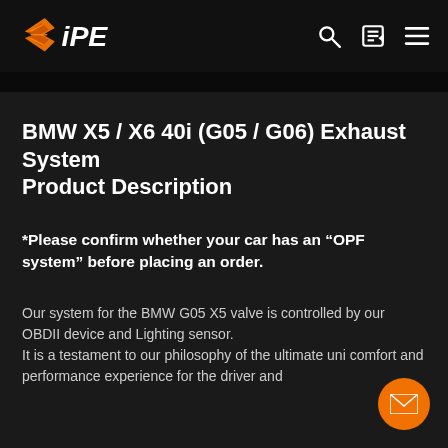iPE [logo] | search | edit | menu
BMW X5 / X6 40i (G05 / G06) Exhaust System Product Description
*Please confirm whether your car has an “OPF system” before placing an order.
Our system for the BMW G05 X5 valve is controlled by our OBDII device and Lighting sensor.
It is a testament to our philosophy of the ultimate union of comfort and performance experience for the driver and